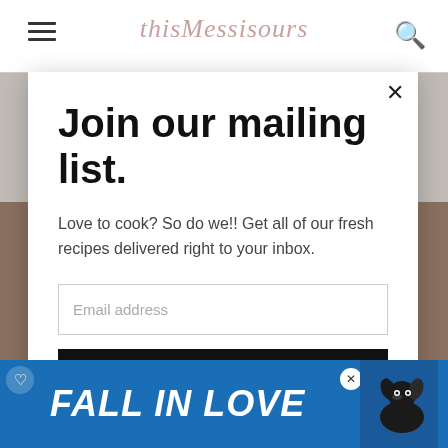thisMessisours
Join our mailing list.
Love to cook? So do we!! Get all of our fresh recipes delivered right to your inbox.
Email address
Subscribe
[Figure (screenshot): Bottom advertisement banner showing 'FALL IN LOVE' text with a dog image on blue background]